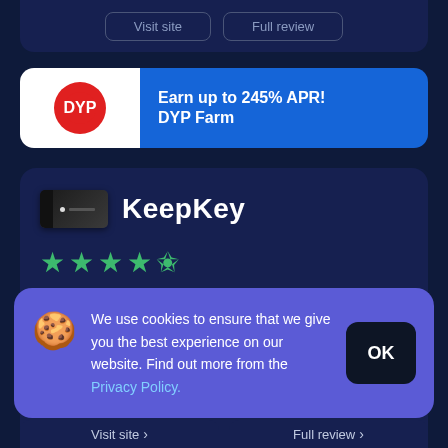[Figure (screenshot): Top partial card with two outlined buttons partially visible]
[Figure (infographic): DYP Farm advertisement banner with red logo circle and blue background. Text: Earn up to 245% APR! DYP Farm]
KeepKey
[Figure (other): Star rating: 4.5 out of 5 stars in green]
Setting up KeepKey is quite simple, even for beginners. The set-up process is similar to other hardware wallets but much more straightforward, making KeepKey ideal for beginners. The set-up
We use cookies to ensure that we give you the best experience on our website. Find out more from the Privacy Policy.
Visit site
Full review